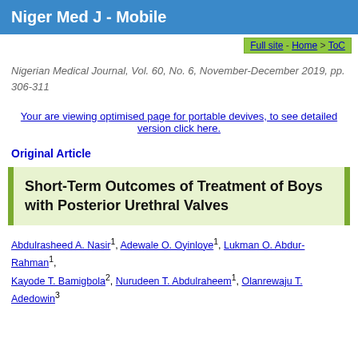Niger Med J - Mobile
Full site - Home > ToC
Nigerian Medical Journal, Vol. 60, No. 6, November-December 2019, pp. 306-311
Your are viewing optimised page for portable devives, to see detailed version click here.
Original Article
Short-Term Outcomes of Treatment of Boys with Posterior Urethral Valves
Abdulrasheed A. Nasir1, Adewale O. Oyinloye1, Lukman O. Abdur-Rahman1, Kayode T. Bamigbola2, Nurudeen T. Abdulraheem1, Olanrewaju T. Adedowin3